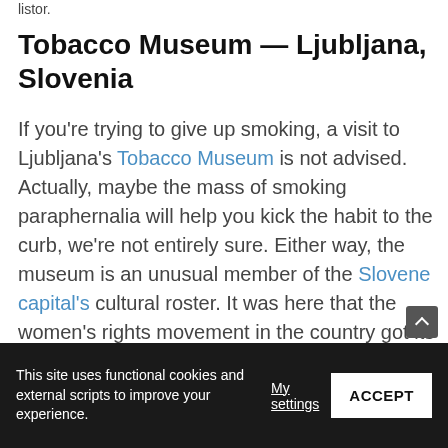listor.
Tobacco Museum — Ljubljana, Slovenia
If you're trying to give up smoking, a visit to Ljubljana's Tobacco Museum is not advised. Actually, maybe the mass of smoking paraphernalia will help you kick the habit to the curb, we're not entirely sure. Either way, the museum is an unusual member of the Slovene capital's cultural roster. It was here that the women's rights movement in the country got its start too. History and heart disease, all in one.
This site uses functional cookies and external scripts to improve your experience. My settings ACCEPT